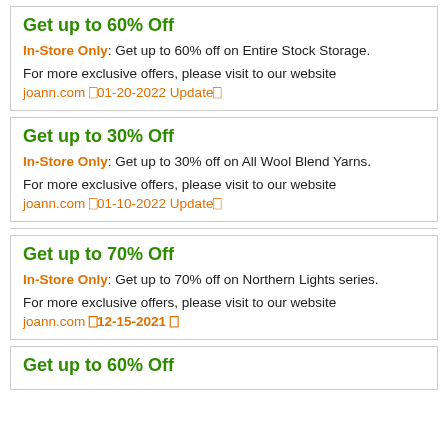Get up to 60% Off
In-Store Only: Get up to 60% off on Entire Stock Storage.
For more exclusive offers, please visit to our website
joann.com [01-20-2022 Update]
Get up to 30% Off
In-Store Only: Get up to 30% off on All Wool Blend Yarns.
For more exclusive offers, please visit to our website
joann.com [01-10-2022 Update]
Get up to 70% Off
In-Store Only: Get up to 70% off on Northern Lights series.
For more exclusive offers, please visit to our website
joann.com [12-15-2021]
Get up to 60% Off